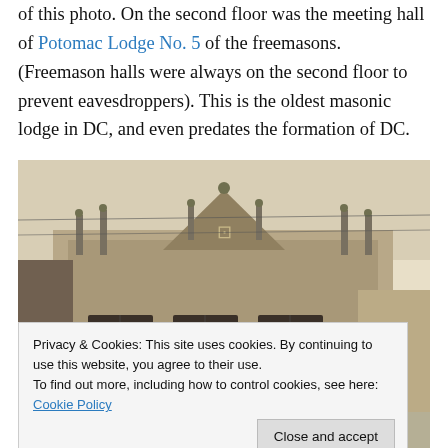of this photo. On the second floor was the meeting hall of Potomac Lodge No. 5 of the freemasons. (Freemason halls were always on the second floor to prevent eavesdroppers). This is the oldest masonic lodge in DC, and even predates the formation of DC.
[Figure (photo): Black and white historical photograph of a Gothic-style masonic lodge building facade, featuring arched windows, decorative spires, and a square and compass symbol at the top center gable.]
Privacy & Cookies: This site uses cookies. By continuing to use this website, you agree to their use.
To find out more, including how to control cookies, see here: Cookie Policy
[Close and accept]
[Figure (photo): Partial bottom strip showing additional historical photographs.]